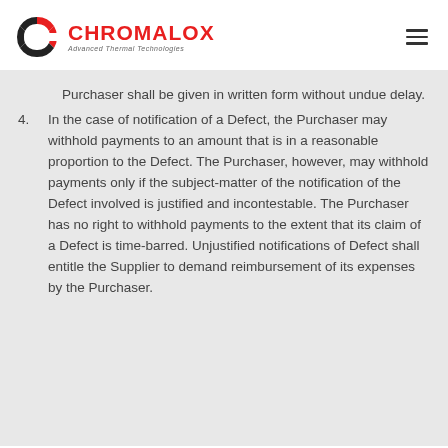[Figure (logo): Chromalox logo with red C-shaped icon and red CHROMALOX text, tagline 'Advanced Thermal Technologies']
Purchaser shall be given in written form without undue delay.
4. In the case of notification of a Defect, the Purchaser may withhold payments to an amount that is in a reasonable proportion to the Defect. The Purchaser, however, may withhold payments only if the subject-matter of the notification of the Defect involved is justified and incontestable. The Purchaser has no right to withhold payments to the extent that its claim of a Defect is time-barred. Unjustified notifications of Defect shall entitle the Supplier to demand reimbursement of its expenses by the Purchaser.